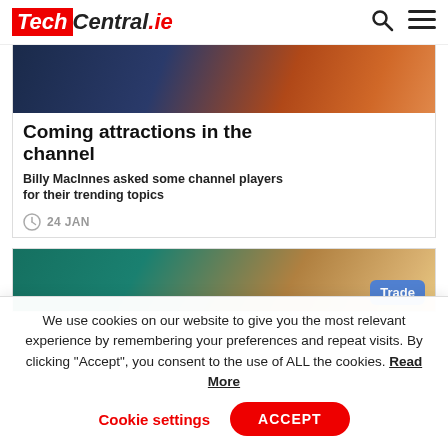TechCentral.ie
[Figure (photo): Partial top image of article showing a person with a device, orange-lit background]
Coming attractions in the channel
Billy MacInnes asked some channel players for their trending topics
24 JAN
[Figure (photo): Partial bottom image of a second article showing a person's face and a 'Trade' button overlay]
We use cookies on our website to give you the most relevant experience by remembering your preferences and repeat visits. By clicking “Accept”, you consent to the use of ALL the cookies. Read More
Cookie settings   ACCEPT